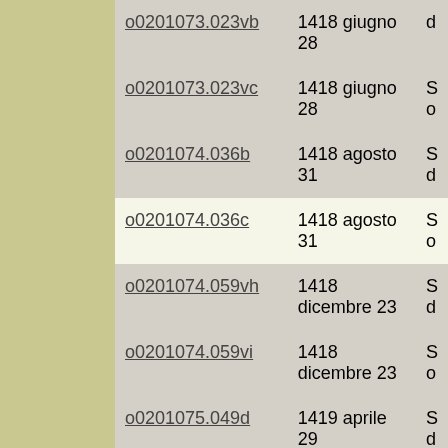| ID | Date | Description |
| --- | --- | --- |
| o0201073.023vb | 1418 giugno 28 | d... |
| o0201073.023vc | 1418 giugno 28 | S... o... |
| o0201074.036b | 1418 agosto 31 | S... d... |
| o0201074.036c | 1418 agosto 31 | S... o... |
| o0201074.059vh | 1418 dicembre 23 | S... d... |
| o0201074.059vi | 1418 dicembre 23 | S... o... |
| o0201075.049d | 1419 aprile 29 | S... d... |